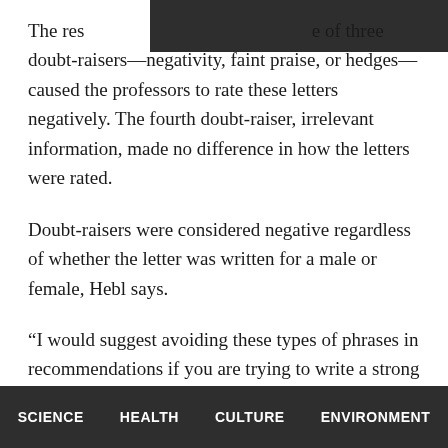[Figure (other): Dark redacted bar covering part of the first line of text]
The res[REDACTED]e of three doubt-raisers—negativity, faint praise, or hedges—caused the professors to rate these letters negatively. The fourth doubt-raiser, irrelevant information, made no difference in how the letters were rated.
Doubt-raisers were considered negative regardless of whether the letter was written for a male or female, Hebl says.
“I would suggest avoiding these types of phrases in recommendations if you are trying to write a strong letter,” she adds, “and to be aware that they might be more likely to unintentionally slip into letters for women
SCIENCE   HEALTH   CULTURE   ENVIRONMENT